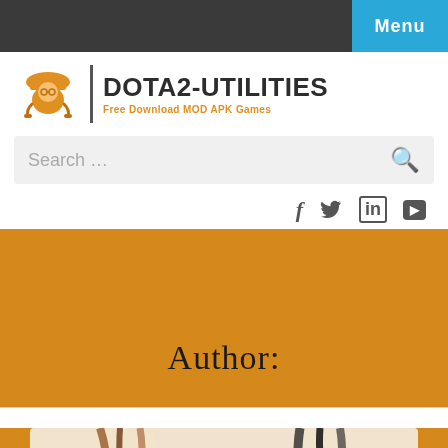Menu
[Figure (logo): DOTA2-UTILITIES logo with orange construction worker icon, vertical divider, bold site name and orange subtitle 'Free Download MOD APK Games']
Search …
[Figure (infographic): Social media icons row: Facebook (f), Twitter (bird), LinkedIn (in), YouTube (rectangle icon)]
Author:
[Figure (illustration): Partial anime character illustration visible at bottom of page, showing hair strands on orange background]